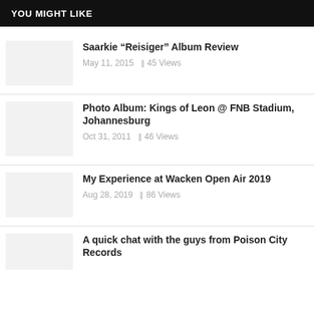YOU MIGHT LIKE
Saarkie “Reisiger” Album Review | May 11, 2015 | 45 Views
Photo Album: Kings of Leon @ FNB Stadium, Johannesburg | Oct 31, 2011 | 46 Views
My Experience at Wacken Open Air 2019 | Aug 28, 2019 | 86 Views
A quick chat with the guys from Poison City Records